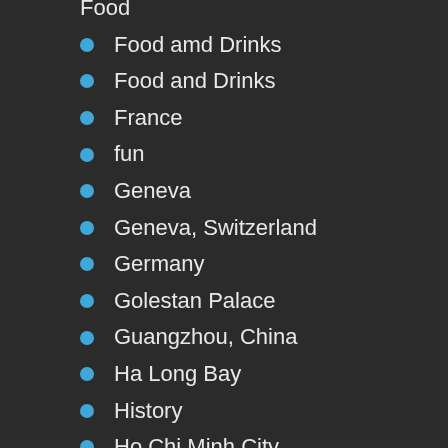Food
Food amd Drinks
Food and Drinks
France
fun
Geneva
Geneva, Switzerland
Germany
Golestan Palace
Guangzhou, China
Ha Long Bay
History
Ho Chi Minh City
Honeymoon
Honeymoon destination